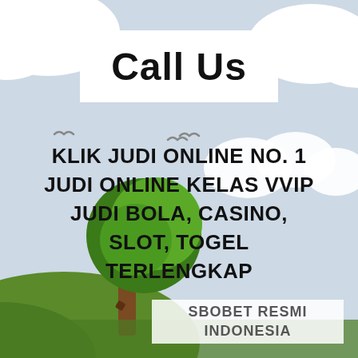[Figure (illustration): Cartoon landscape background with light blue-grey sky, white clouds, green hills, a green tree with brown trunk, and small bird silhouettes]
Call Us
KLIK JUDI ONLINE NO. 1
JUDI ONLINE KELAS VVIP
JUDI BOLA, CASINO,
SLOT, TOGEL
TERLENGKAP
SBOBET RESMI INDONESIA